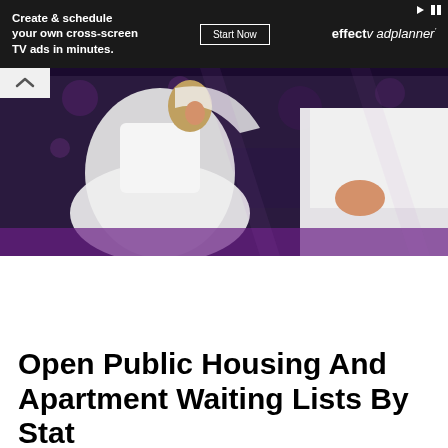[Figure (screenshot): Advertisement banner: dark background with text 'Create & schedule your own cross-screen TV ads in minutes.' with a 'Start Now' button and 'effectv ad planner' branding]
[Figure (photo): Wedding photo showing a bride in a white dress and a groom in a white shirt, appearing to dance or run at a reception event]
[Figure (screenshot): HealthCare.gov advertisement banner with pink/magenta background, showing 'HealthCare.gov' in white text and a 'LEARN MORE' button]
Open Public Housing And Apartment Waiting Lists By Stat